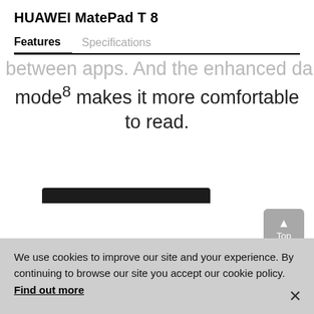HUAWEI MatePad T 8
Features    Specifications
between apps. And the enhanced dark mode⁸ makes it more comfortable to read.
[Figure (photo): Top portion of a dark tablet device bar visible at the bottom of the content area]
We use cookies to improve our site and your experience. By continuing to browse our site you accept our cookie policy. Find out more